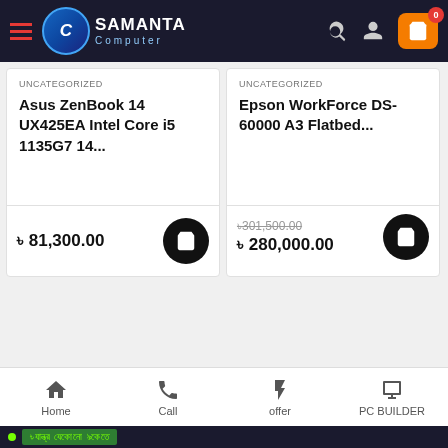Samanta Computer - header navigation
UNCATEGORIZED
Asus ZenBook 14 UX425EA Intel Core i5 1135G7 14...
৳ 81,300.00
UNCATEGORIZED
Epson WorkForce DS-60000 A3 Flatbed...
৳301,500.00 (strikethrough) ৳ 280,000.00
আপনার কি কম্পিউটার কেনা ও সম্পর্কিত কোনো সমস্যা আছে?
+01769-578139(10 A.M - 6P.M)
Home | Call | offer | PC BUILDER